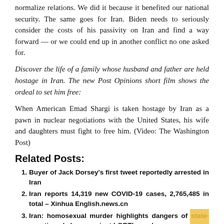normalize relations. We did it because it benefited our national security. The same goes for Iran. Biden needs to seriously consider the costs of his passivity on Iran and find a way forward — or we could end up in another conflict no one asked for.
Discover the life of a family whose husband and father are held hostage in Iran. The new Post Opinions short film shows the ordeal to set him free:
When American Emad Shargi is taken hostage by Iran as a pawn in nuclear negotiations with the United States, his wife and daughters must fight to free him. (Video: The Washington Post)
Related Posts:
Buyer of Jack Dorsey's first tweet reportedly arrested in Iran
Iran reports 14,319 new COVID-19 cases, 2,765,485 in total – Xinhua English.news.cn
Iran: homosexual murder highlights dangers of state-sanctioned abuse against LGBTI people
Main headlines: Airtel back in black in the fourth quarter; India loses gas field in Iran